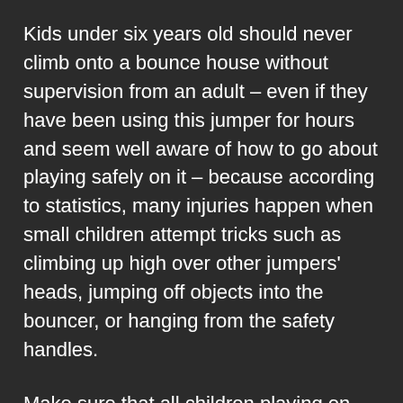Kids under six years old should never climb onto a bounce house without supervision from an adult – even if they have been using this jumper for hours and seem well aware of how to go about playing safely on it – because according to statistics, many injuries happen when small children attempt tricks such as climbing up high over other jumpers' heads, jumping off objects into the bouncer, or hanging from the safety handles.
Make sure that all children playing on bounce houses are wearing appropriate safety gear such as shoes with rubber soles to prevent slipping and falling in a crowded bouncer area. They should also have protective headgear if they plan on jumping very high off of a trampoline! Adults should never jump in them without being properly fitted for equipment too – even professionals can get hurt when